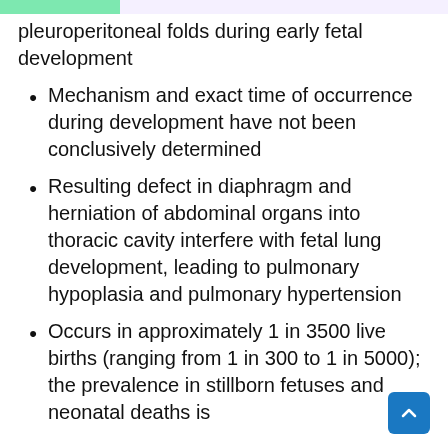pleuroperitoneal folds during early fetal development
Mechanism and exact time of occurrence during development have not been conclusively determined
Resulting defect in diaphragm and herniation of abdominal organs into thoracic cavity interfere with fetal lung development, leading to pulmonary hypoplasia and pulmonary hypertension
Occurs in approximately 1 in 3500 live births (ranging from 1 in 300 to 1 in 5000); the prevalence in stillborn fetuses and neonatal deaths is